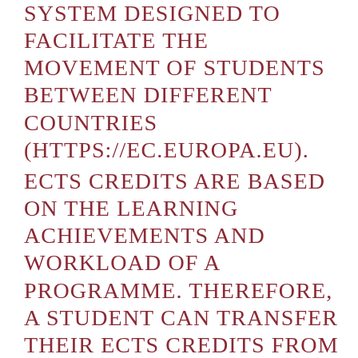SYSTEM DESIGNED TO FACILITATE THE MOVEMENT OF STUDENTS BETWEEN DIFFERENT COUNTRIES (HTTPS://EC.EUROPA.EU).
ECTS CREDITS ARE BASED ON THE LEARNING ACHIEVEMENTS AND WORKLOAD OF A PROGRAMME. THEREFORE, A STUDENT CAN TRANSFER THEIR ECTS CREDITS FROM ONE THIRD-LEVEL INSTITUTION TO ANOTHER SO THAT THE CREDITS ARE ADDED UP TO CONTRIBUTE TO AN INDIVIDUAL'S DEGREE PROGRAMME OR TRAINING.